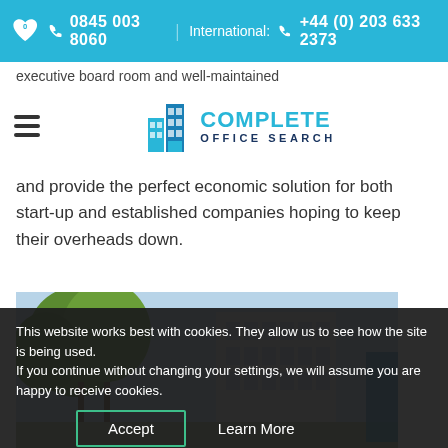0845 003 8060 | International: +44 (0) 203 633 2373
executive board room and well-maintained
[Figure (logo): Complete Office Search logo with blue building icon and text]
and provide the perfect economic solution for both start-up and established companies hoping to keep their overheads down.
[Figure (photo): Exterior photo of an office building with trees and blue sky]
This website works best with cookies. They allow us to see how the site is being used.
If you continue without changing your settings, we will assume you are happy to receive cookies.